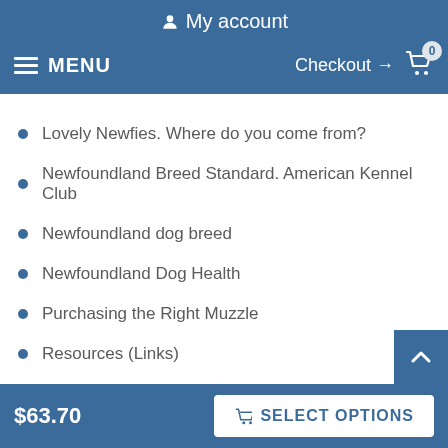My account
MENU   Checkout → 0
Lovely Newfies. Where do you come from?
Newfoundland Breed Standard. American Kennel Club
Newfoundland dog breed
Newfoundland Dog Health
Purchasing the Right Muzzle
Resources (Links)
The legend of Newfoundland
You and goody-goody “little” dog
The Truth About Newfoundlands
$63.70   SELECT OPTIONS